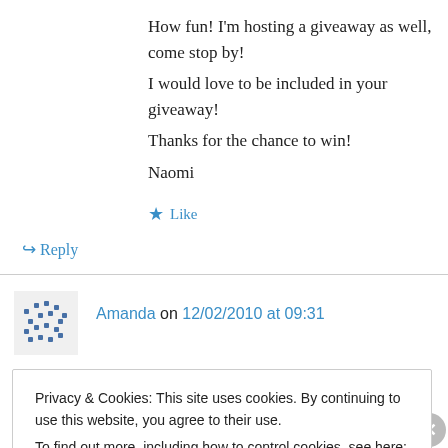How fun! I'm hosting a giveaway as well, come stop by!
I would love to be included in your giveaway!
Thanks for the chance to win!
Naomi
★ Like
↪ Reply
Amanda on 12/02/2010 at 09:31
Privacy & Cookies: This site uses cookies. By continuing to use this website, you agree to their use.
To find out more, including how to control cookies, see here: Cookie Policy
Close and accept